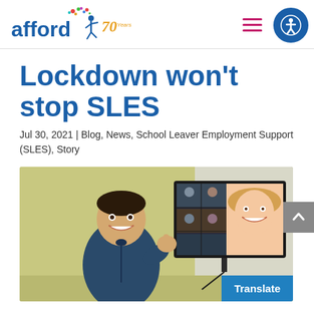afford [logo with figure] 70 years [hamburger menu] [accessibility icon]
Lockdown won't stop SLES
Jul 30, 2021 | Blog, News, School Leaver Employment Support (SLES), Story
[Figure (photo): A young man in a blue hoodie giving a thumbs up, standing next to a TV screen showing a video call with a smiling woman and several other participants in a grid view.]